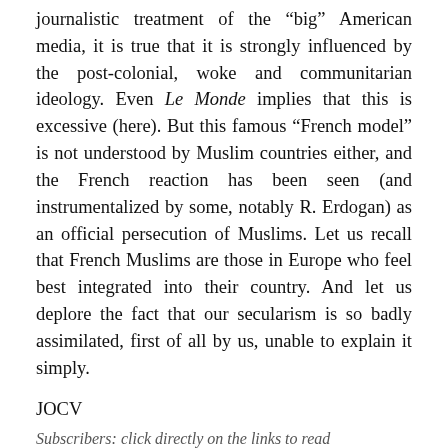journalistic treatment of the “big” American media, it is true that it is strongly influenced by the post-colonial, woke and communitarian ideology. Even Le Monde implies that this is excessive (here). But this famous “French model” is not understood by Muslim countries either, and the French reaction has been seen (and instrumentalized by some, notably R. Erdogan) as an official persecution of Muslims. Let us recall that French Muslims are those in Europe who feel best integrated into their country. And let us deplore the fact that our secularism is so badly assimilated, first of all by us, unable to explain it simply.
JOCV
Subscribers: click directly on the links to read